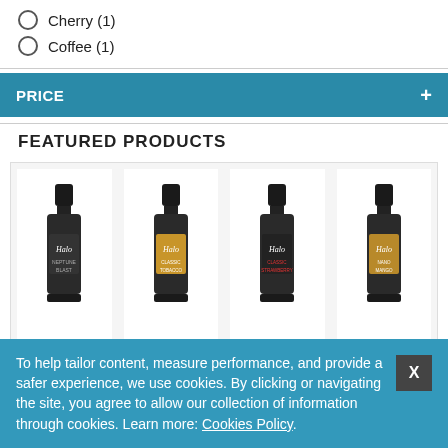Cherry (1)
Coffee (1)
PRICE
FEATURED PRODUCTS
[Figure (photo): Four Halo brand small dropper bottles of e-liquid arranged in a product grid. From left to right: a dark-labeled bottle, a light brown-labeled bottle, a red-labeled bottle, and a gold-labeled bottle.]
To help tailor content, measure performance, and provide a safer experience, we use cookies. By clicking or navigating the site, you agree to allow our collection of information through cookies. Learn more: Cookies Policy.